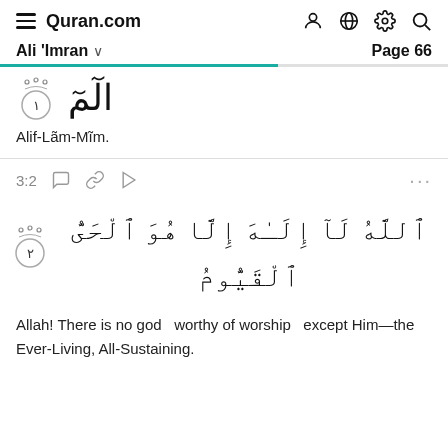Quran.com — Ali 'Imran — Page 66
الٓمٓ
Alif-Lãm-Mĩm.
3:2
ٱللَّهُ لَآ إِلَـٰهَ إِلَّا هُوَ ٱلْحَىُّ ٱلْقَيُّومُ
Allah! There is no god worthy of worship except Him—the Ever-Living, All-Sustaining.